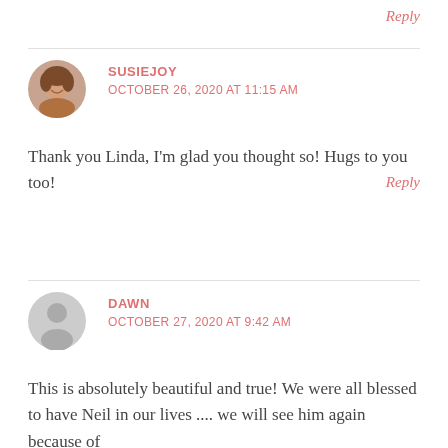Reply
SUSIEJOY
OCTOBER 26, 2020 AT 11:15 AM
Thank you Linda, I'm glad you thought so! Hugs to you too!
Reply
[Figure (photo): Circular avatar photo of a smiling woman with brown hair]
DAWN
OCTOBER 27, 2020 AT 9:42 AM
This is absolutely beautiful and true! We were all blessed to have Neil in our lives .... we will see him again because of